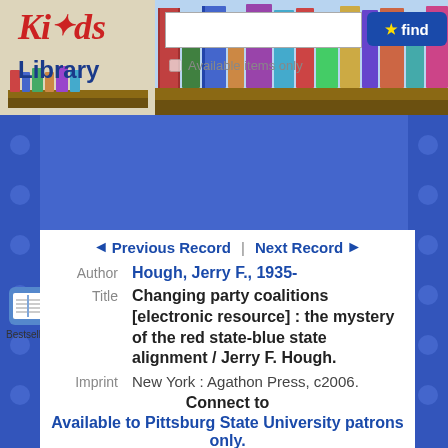[Figure (screenshot): Kids Library logo with colorful books banner header, search box, and find button]
Previous Record | Next Record
Author  Hough, Jerry F., 1935-
Title  Changing party coalitions [electronic resource] : the mystery of the red state-blue state alignment / Jerry F. Hough.
Imprint  New York : Agathon Press, c2006.
Connect to
Available to Pittsburg State University patrons only.
Copies
OPAC